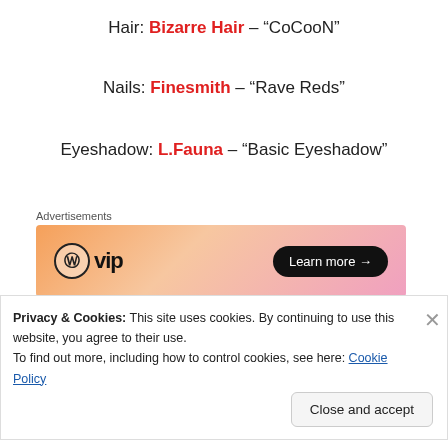Hair: Bizarre Hair – “CoCooN”
Nails: Finesmith – “Rave Reds”
Eyeshadow: L.Fauna – “Basic Eyeshadow”
[Figure (other): WordPress VIP advertisement banner with gradient orange-pink background and Learn more button]
Eyeliner: Silken Moon – “Wicca”
Privacy & Cookies: This site uses cookies. By continuing to use this website, you agree to their use.
To find out more, including how to control cookies, see here: Cookie Policy